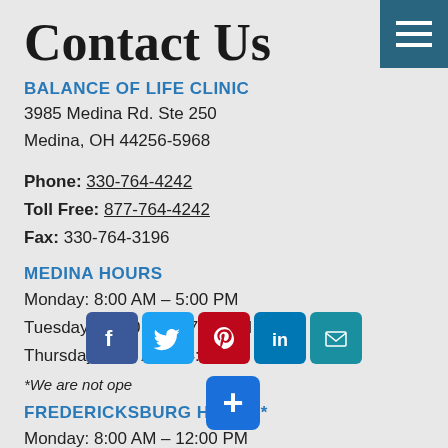Contact Us
BALANCE OF LIFE CLINIC
3985 Medina Rd. Ste 250
Medina, OH 44256-5968
Phone: 330-764-4242
Toll Free: 877-764-4242
Fax: 330-764-3196
MEDINA HOURS
Monday: 8:00 AM – 5:00 PM
Tuesday: 10:00 AM – 7:00 PM
Thursday: 8:00 AM – 4:00 PM
*We are not open on holidays.
[Figure (infographic): Social media share bar with Facebook, Twitter, Pinterest, LinkedIn, and Email icons]
FREDERICKSBURG HOURS*
Monday: 8:00 AM – 12:00 PM